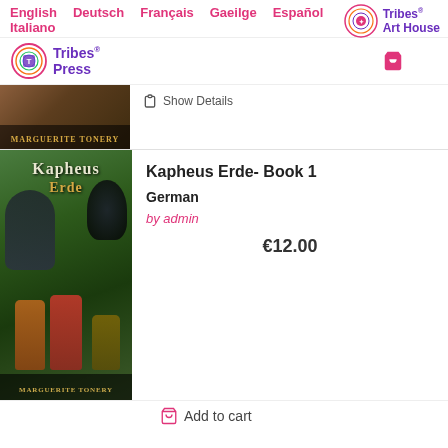English   Deutsch   Français   Gaeilge   Español   Italiano
[Figure (logo): Tribes Art House logo - circular rainbow design with purple text]
[Figure (logo): Tribes Press logo - circular rainbow design with purple text]
[Figure (photo): Partial view of a fantasy book cover showing MARGUERITE TONERY text at bottom]
Show Details
[Figure (photo): Kapheus Erde Book 1 cover art - fantasy illustration with two characters in a forest with a dark creature, text Kapheus Erde and MARGUERITE TONERY]
Kapheus Erde- Book 1
German
by admin
€12.00
Add to cart